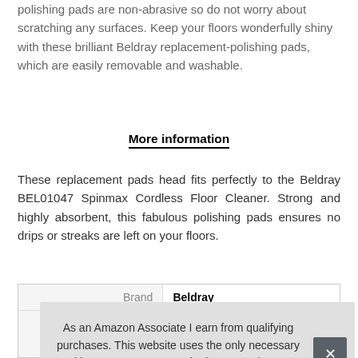polishing pads are non-abrasive so do not worry about scratching any surfaces. Keep your floors wonderfully shiny with these brilliant Beldray replacement-polishing pads, which are easily removable and washable.
More information
These replacement pads head fits perfectly to the Beldray BEL01047 Spinmax Cordless Floor Cleaner. Strong and highly absorbent, this fabulous polishing pads ensures no drips or streaks are left on your floors.
| Brand |
| --- |
| Beldray |
| Ma... |
As an Amazon Associate I earn from qualifying purchases. This website uses the only necessary cookies to ensure you get the best experience on our website. More information